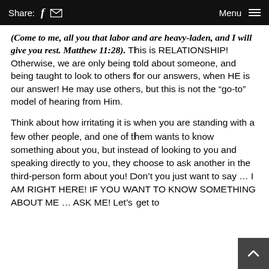Share: f [email icon] Menu [hamburger icon]
(Come to me, all you that labor and are heavy-laden, and I will give you rest. Matthew 11:28). This is RELATIONSHIP! Otherwise, we are only being told about someone, and being taught to look to others for our answers, when HE is our answer! He may use others, but this is not the “go-to” model of hearing from Him.
Think about how irritating it is when you are standing with a few other people, and one of them wants to know something about you, but instead of looking to you and speaking directly to you, they choose to ask another in the third-person form about you! Don’t you just want to say ... I AM RIGHT HERE! IF YOU WANT TO KNOW SOMETHING ABOUT ME ... ASK ME! Let’s get to